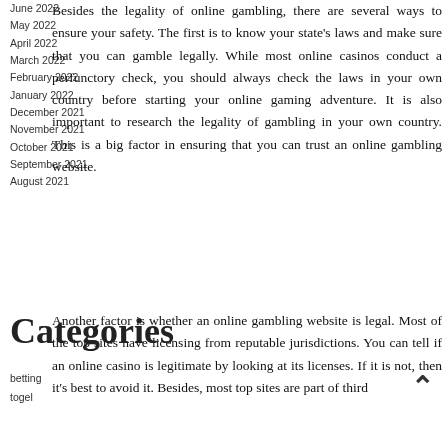June 2022
May 2022
April 2022
March 2022
February 2022
January 2022
December 2021
November 2021
October 2021
September 2021
August 2021
Besides the legality of online gambling, there are several ways to ensure your safety. The first is to know your state's laws and make sure that you can gamble legally. While most online casinos conduct a perfunctory check, you should always check the laws in your own country before starting your online gaming adventure. It is also important to research the legality of gambling in your own country. This is a big factor in ensuring that you can trust an online gambling website.
Categories
betting
togel
Another factor is whether an online gambling website is legal. Most of the top sites have licensing from reputable jurisdictions. You can tell if an online casino is legitimate by looking at its licenses. If it is not, then it's best to avoid it. Besides, most top sites are part of third